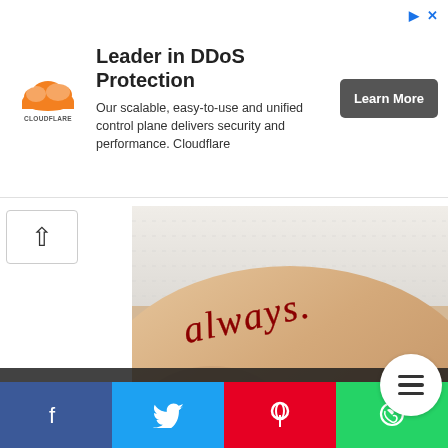[Figure (screenshot): Cloudflare ad banner with logo, headline 'Leader in DDoS Protection', description text, and 'Learn More' button]
[Figure (photo): Close-up photo of a forearm with a red ink cursive tattoo reading 'always.']
Tattoos with Red Ink Word Always Simpre on forearm Cursive
[Figure (screenshot): Social sharing bar with Facebook, Twitter, Pinterest, and WhatsApp buttons]